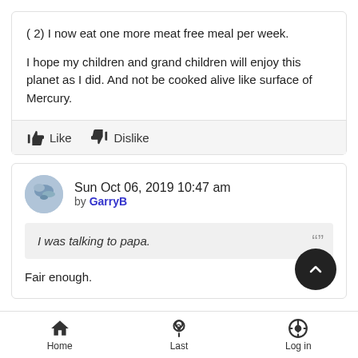( 2) I now eat one more meat free meal per week.
I hope my children and grand children will enjoy this planet as I did. And not be cooked alive like surface of Mercury.
Like  Dislike
Sun Oct 06, 2019 10:47 am by GarryB
I was talking to papa.
Fair enough.
Home  Last  Log in